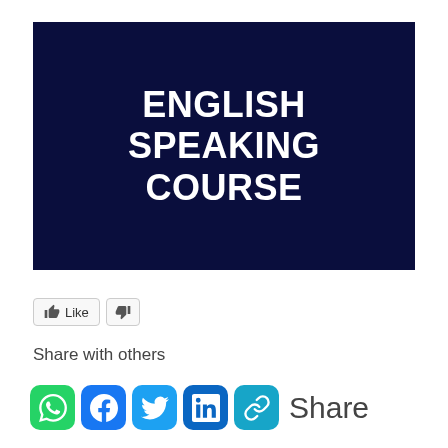[Figure (illustration): Dark navy blue banner image with bold white uppercase text reading 'ENGLISH SPEAKING COURSE']
[Figure (infographic): Like and dislike buttons (thumbs up labeled 'Like' and thumbs down), followed by share icons for WhatsApp, Facebook, Twitter, LinkedIn, and a chain link, with 'Share with others' text label and 'Share' text next to the icons.]